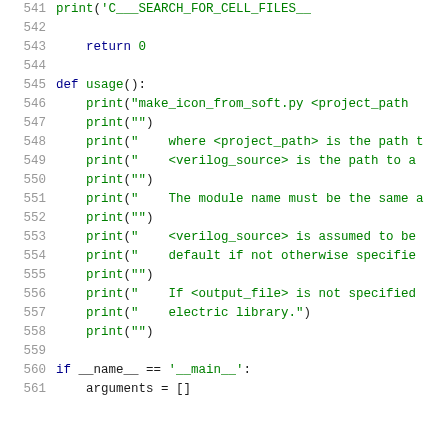[Figure (screenshot): Python source code viewer showing lines 541-561. Lines show print statements, a usage() function definition, and an if __name__ == '__main__': block with arguments = []]